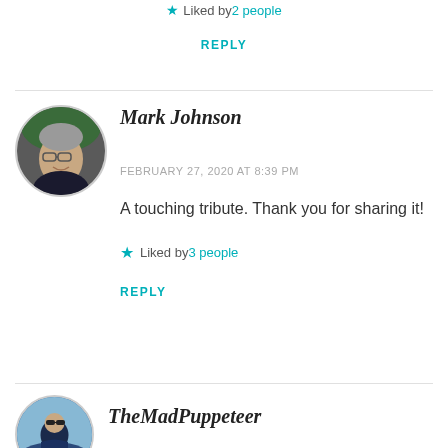★ Liked by 2 people
REPLY
[Figure (photo): Circular avatar photo of Mark Johnson, a man wearing glasses with dark background]
Mark Johnson
FEBRUARY 27, 2020 AT 8:39 PM
A touching tribute. Thank you for sharing it!
★ Liked by 3 people
REPLY
[Figure (photo): Circular avatar photo of TheMadPuppeteer, a person wearing sunglasses outdoors]
TheMadPuppeteer